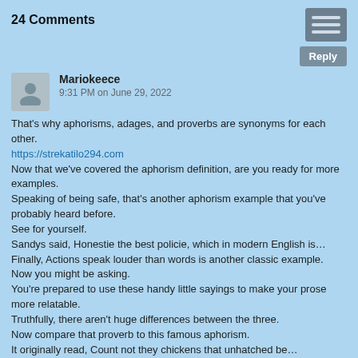24 Comments
[Figure (other): Menu icon (three horizontal lines) and Reply button]
Mariokeece
9:31 PM on June 29, 2022
That's why aphorisms, adages, and proverbs are synonyms for each other.
https://strekatilo294.com
Now that we've covered the aphorism definition, are you ready for more examples.
Speaking of being safe, that's another aphorism example that you've probably heard before.
See for yourself.
Sandys said, Honestie the best policie, which in modern English is…
Finally, Actions speak louder than words is another classic example.
Now you might be asking.
You're prepared to use these handy little sayings to make your prose more relatable.
Truthfully, there aren't huge differences between the three.
Now compare that proverb to this famous aphorism.
It originally read, Count not they chickens that unhatched be…
Opportunities don't happen.
Have you ever felt frustrated when other people didn't meet your expectations.
The complete quote was, A Jack of all trades and master of none, but oftentimes better than a master of one.
Aphorisms state universal truths about life that encourage reflection.
There must be a method to your madness.